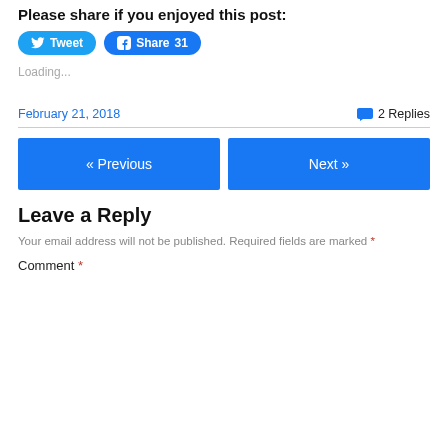Please share if you enjoyed this post:
[Figure (other): Tweet button (blue rounded, Twitter bird icon) and Facebook Share 31 button (blue rounded, Facebook f icon)]
Loading...
February 21, 2018
2 Replies
« Previous
Next »
Leave a Reply
Your email address will not be published. Required fields are marked *
Comment *